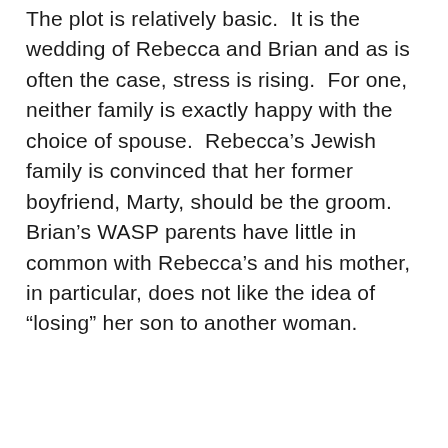The plot is relatively basic. It is the wedding of Rebecca and Brian and as is often the case, stress is rising. For one, neither family is exactly happy with the choice of spouse. Rebecca's Jewish family is convinced that her former boyfriend, Marty, should be the groom. Brian's WASP parents have little in common with Rebecca's and his mother, in particular, does not like the idea of “losing” her son to another woman.